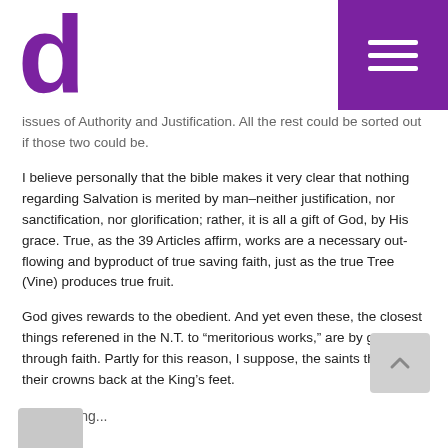d [logo] [menu button]
issues of Authority and Justification. All the rest could be sorted out if those two could be.
I believe personally that the bible makes it very clear that nothing regarding Salvation is merited by man–neither justification, nor sanctification, nor glorification; rather, it is all a gift of God, by His grace. True, as the 39 Articles affirm, works are a necessary out-flowing and byproduct of true saving faith, just as the true Tree (Vine) produces true fruit.
God gives rewards to the obedient. And yet even these, the closest things referened in the N.T. to “meritorious works,” are by grace through faith. Partly for this reason, I suppose, the saints throw their crowns back at the King’s feet.
★ Loading...
Reply